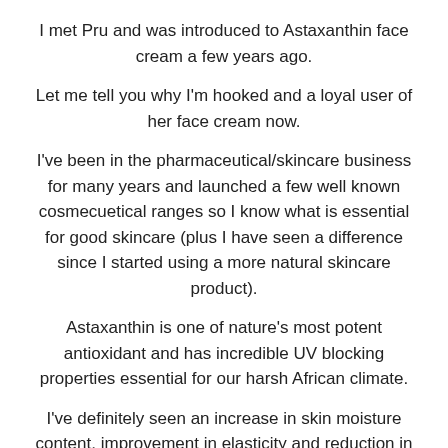I met Pru and was introduced to Astaxanthin face cream a few years ago.
Let me tell you why I'm hooked and a loyal user of her face cream now.
I've been in the pharmaceutical/skincare business for many years and launched a few well known cosmecuetical ranges so I know what is essential for good skincare (plus I have seen a difference since I started using a more natural skincare product).
Astaxanthin is one of nature's most potent antioxidant and has incredible UV blocking properties essential for our harsh African climate.
I've definitely seen an increase in skin moisture content, improvement in elasticity and reduction in my pigmentation...kind of a glow now too!
It is also so very reasonably priced which allows me to use it liberally on my face, decolletage and hands, morning and night without breaking the